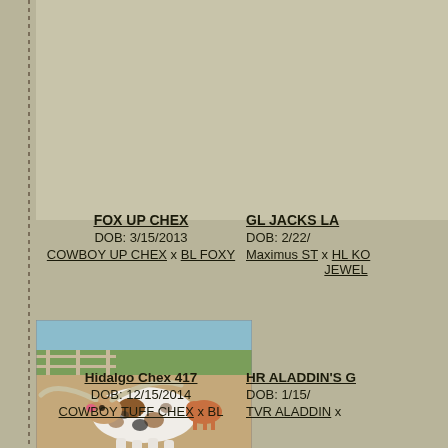FOX UP CHEX
DOB: 3/15/2013
COWBOY UP CHEX x BL FOXY
GL JACKS LA...
DOB: 2/22/...
Maximus ST x HL KO... JEWEL...
[Figure (photo): Texas Longhorn bull with large horns standing in a field, white and brown spotted coat]
Hidalgo Chex 417
DOB: 12/15/2014
COWBOY TUFF CHEX x BL...
HR ALADDIN'S G...
DOB: 1/15/...
TVR ALADDIN x ...